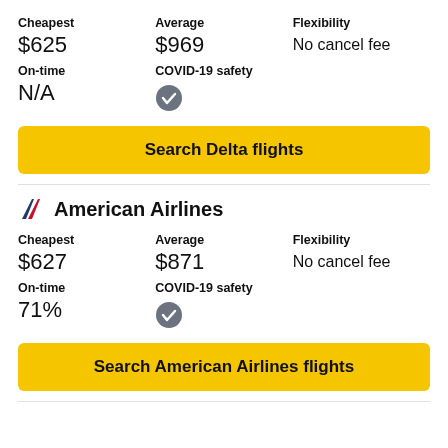| Cheapest | Average | Flexibility |
| --- | --- | --- |
| $625 | $969 | No cancel fee |
| On-time | COVID-19 safety |
| --- | --- |
| N/A | ✓ |
Search Delta flights
American Airlines
| Cheapest | Average | Flexibility |
| --- | --- | --- |
| $627 | $871 | No cancel fee |
| On-time | COVID-19 safety |
| --- | --- |
| 71% | ✓ |
Search American Airlines flights